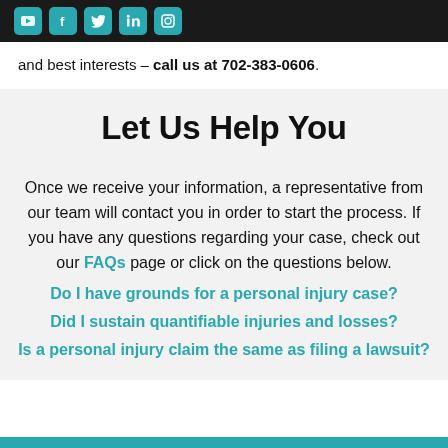[Social media icons: YouTube, Facebook, Twitter, LinkedIn, Instagram]
and best interests – call us at 702-383-0606.
Let Us Help You
Once we receive your information, a representative from our team will contact you in order to start the process. If you have any questions regarding your case, check out our FAQs page or click on the questions below.
Do I have grounds for a personal injury case?
Did I sustain quantifiable injuries and losses?
Is a personal injury claim the same as filing a lawsuit?